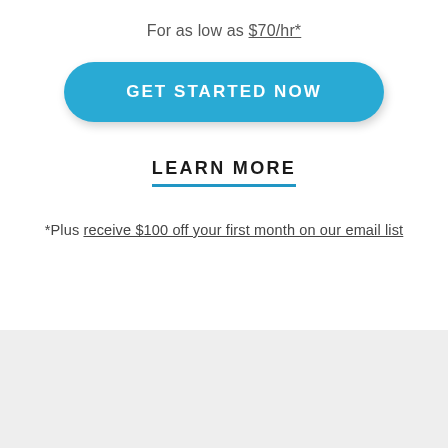For as low as $70/hr*
[Figure (other): Blue pill-shaped call-to-action button with white uppercase text: GET STARTED NOW]
LEARN MORE
*Plus receive $100 off your first month on our email list